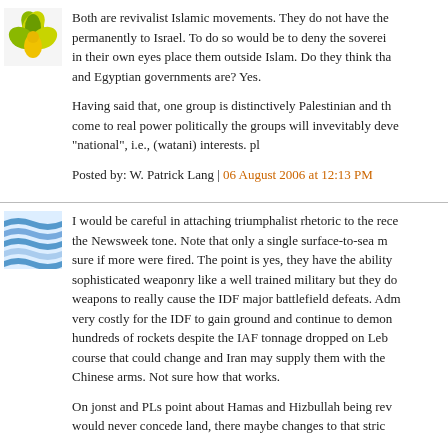[Figure (illustration): Green and yellow decorative floral/leaf avatar icon]
Both are revivalist Islamic movements. They do not have the permanently to Israel. To do so would be to deny the soverei in their own eyes place them outside Islam. Do they think tha and Egyptian governments are? Yes.

Having said that, one group is distinctively Palestinian and th come to real power politically the groups will invevitably deve "national", i.e., (watani) interests. pl

Posted by: W. Patrick Lang | 06 August 2006 at 12:13 PM
[Figure (illustration): Blue and white wavy lines avatar icon]
I would be careful in attaching triumphalist rhetoric to the rece the Newsweek tone. Note that only a single surface-to-sea m sure if more were fired. The point is yes, they have the ability sophisticated weaponry like a well trained military but they do weapons to really cause the IDF major battlefield defeats. Adm very costly for the IDF to gain ground and continue to demon hundreds of rockets despite the IAF tonnage dropped on Leb course that could change and Iran may supply them with the Chinese arms. Not sure how that works.

On jonst and PLs point about Hamas and Hizbullah being rev would never concede land, there maybe changes to that stric